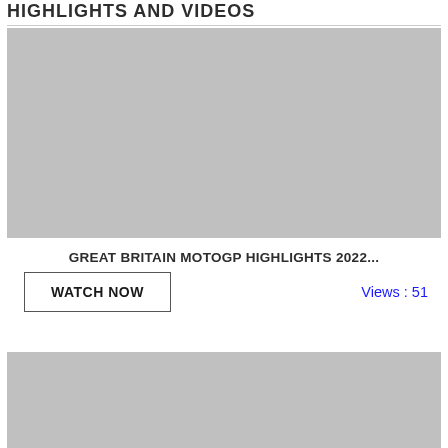HIGHLIGHTS AND VIDEOS
[Figure (screenshot): Gray video placeholder rectangle (video thumbnail area)]
GREAT BRITAIN MOTOGP HIGHLIGHTS 2022...
WATCH NOW
Views : 51
[Figure (screenshot): Gray video placeholder rectangle (second video thumbnail area, partially visible)]